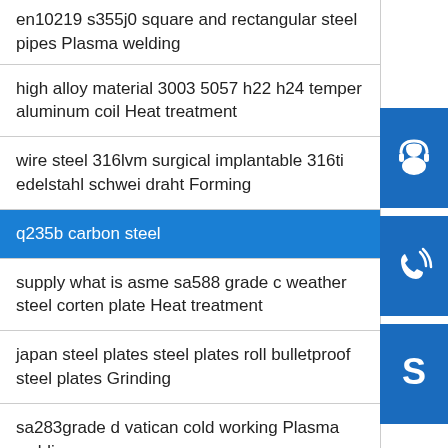en10219 s355j0 square and rectangular steel pipes Plasma welding
high alloy material 3003 5057 h22 h24 temper aluminum coil Heat treatment
wire steel 316lvm surgical implantable 316ti edelstahl schwei draht Forming
q235b carbon steel
supply what is asme sa588 grade c weather steel corten plate Heat treatment
japan steel plates steel plates roll bulletproof steel plates Grinding
sa283grade d vatican cold working Plasma welding
[Figure (illustration): Three blue icon boxes on the right sidebar: headset/support icon, phone/call icon, Skype icon]